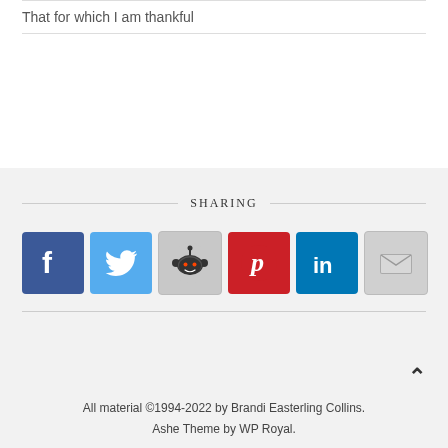That for which I am thankful
SHARING
[Figure (other): Social sharing icons: Facebook, Twitter, Reddit, Pinterest, LinkedIn, Email]
All material © 1994-2022 by Brandi Easterling Collins. Ashe Theme by WP Royal.